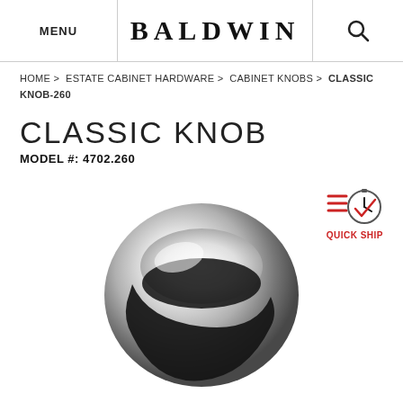MENU | BALDWIN | [search icon]
HOME > ESTATE CABINET HARDWARE > CABINET KNOBS > CLASSIC KNOB-260
CLASSIC KNOB
MODEL #: 4702.260
[Figure (photo): Chrome classic cabinet knob (model 4702.260) shown from above, with a polished rounded dome shape and a black recessed center detail, on a white background. A 'Quick Ship' badge with a red clock and lines icon appears in the upper right.]